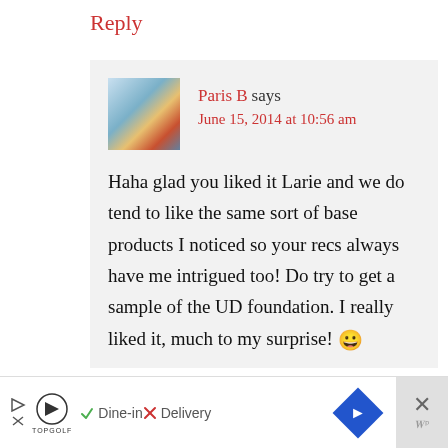Reply
Paris B says
June 15, 2014 at 10:56 am
Haha glad you liked it Larie and we do tend to like the same sort of base products I noticed so your recs always have me intrigued too! Do try to get a sample of the UD foundation. I really liked it, much to my surprise! 😀
[Figure (screenshot): Advertisement bar at bottom: Topgolf logo, Dine-in checkmark, Delivery X, navigation diamond icon, close button]